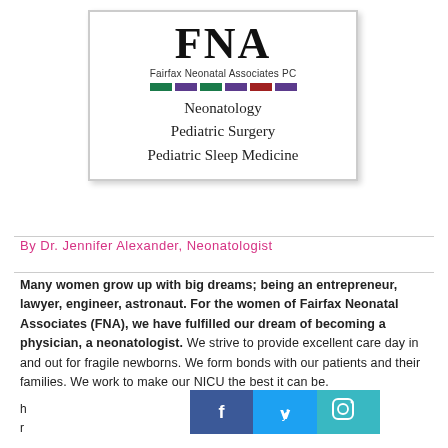[Figure (logo): FNA Fairfax Neonatal Associates PC logo with colored bars and specialties: Neonatology, Pediatric Surgery, Pediatric Sleep Medicine]
By Dr. Jennifer Alexander, Neonatologist
Many women grow up with big dreams; being an entrepreneur, lawyer, engineer, astronaut. For the women of Fairfax Neonatal Associates (FNA), we have fulfilled our dream of becoming a physician, a neonatologist. We strive to provide excellent care day in and out for fragile newborns. We form bonds with our patients and their families. We work to make our NICU the best it can be.
[Figure (illustration): Social media sharing bar with Facebook, Twitter, and Instagram icons in teal/blue]